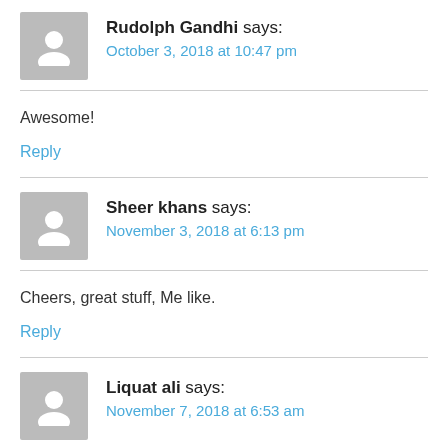Rudolph Gandhi says: October 3, 2018 at 10:47 pm
Awesome!
Reply
Sheer khans says: November 3, 2018 at 6:13 pm
Cheers, great stuff, Me like.
Reply
Liquat ali says: November 7, 2018 at 6:53 am